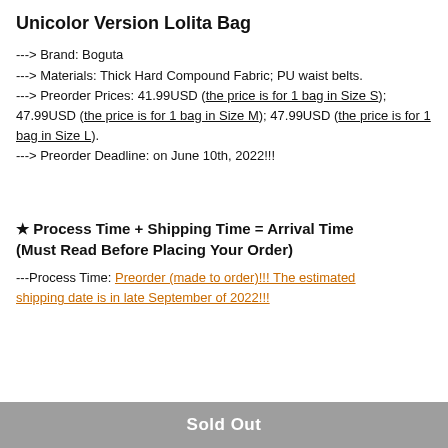Unicolor Version Lolita Bag
---> Brand: Boguta
---> Materials: Thick Hard Compound Fabric; PU waist belts.
---> Preorder Prices: 41.99USD (the price is for 1 bag in Size S); 47.99USD (the price is for 1 bag in Size M); 47.99USD (the price is for 1 bag in Size L).
---> Preorder Deadline: on June 10th, 2022!!!
★ Process Time + Shipping Time = Arrival Time (Must Read Before Placing Your Order)
---Process Time: Preorder (made to order)!!! The estimated shipping date is in late September of 2022!!!
Sold Out